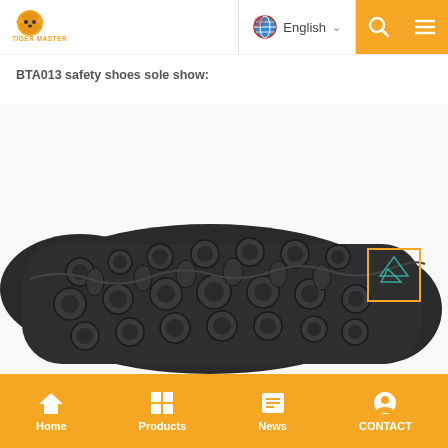Tiger Master — English navigation bar with logo, language selector, search, and menu icons
BTA013 safety shoes sole show:
[Figure (photo): Bottom/sole view of BTA013 safety shoe showing black rubber outsole with circular and irregular tread pattern, with Tiger Master brand logo box in bottom right corner]
Home | Products | News | CONTACT